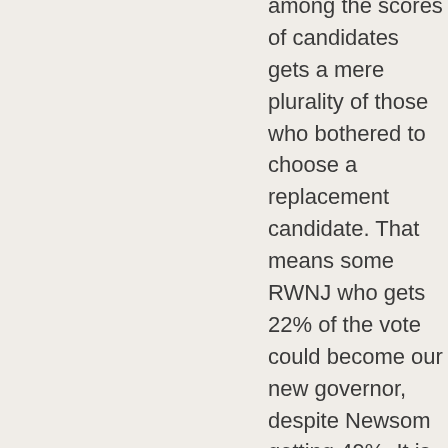among the scores of candidates gets a mere plurality of those who bothered to choose a replacement candidate. That means some RWNJ who gets 22% of the vote could become our new governor, despite Newsom getting 49%. It is just ludicrous &